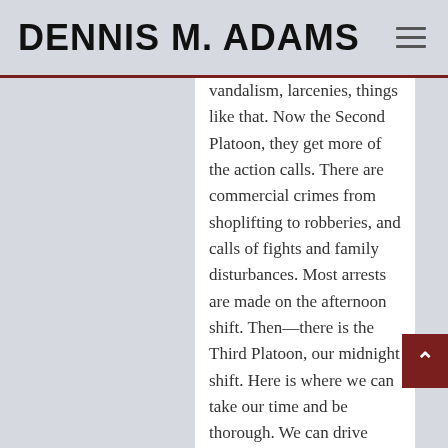DENNIS M. ADAMS
vandalism, larcenies, things like that. Now the Second Platoon, they get more of the action calls. There are commercial crimes from shoplifting to robberies, and calls of fights and family disturbances. Most arrests are made on the afternoon shift. Then—there is the Third Platoon, our midnight shift. Here is where we can take our time and be thorough. We can drive through the neighborhoods slowly and be observant. And just when you start to get bored, your